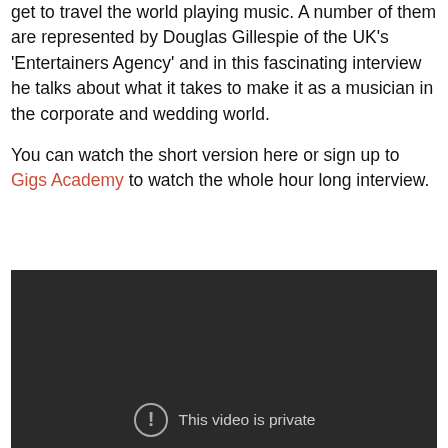get to travel the world playing music. A number of them are represented by Douglas Gillespie of the UK's 'Entertainers Agency' and in this fascinating interview he talks about what it takes to make it as a musician in the corporate and wedding world.

You can watch the short version here or sign up to Gigs Academy to watch the whole hour long interview.
[Figure (screenshot): Embedded video player showing a dark/black background with a private video notice. A circular exclamation icon and the text 'This video is private' appear at the bottom center.]